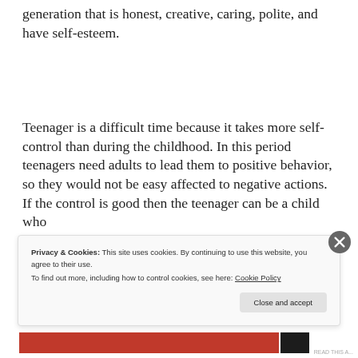generation that is honest, creative, caring, polite, and have self-esteem.
Teenager is a difficult time because it takes more self-control than during the childhood. In this period teenagers need adults to lead them to positive behavior, so they would not be easy affected to negative actions. If the control is good then the teenager can be a child who
Privacy & Cookies: This site uses cookies. By continuing to use this website, you agree to their use.
To find out more, including how to control cookies, see here: Cookie Policy